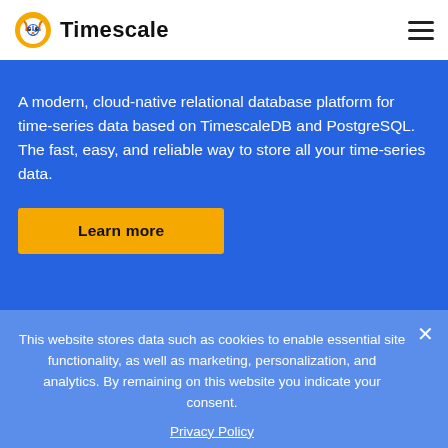Timescale
A modern, cloud-native relational database platform for time-series data based on TimescaleDB and PostgreSQL. The fast, easy, and reliable way to store all your time-series data.
Learn more
This website stores data such as cookies to enable essential site functionality, as well as marketing, personalization, and analytics. By remaining on this website you indicate your consent.
Privacy Policy